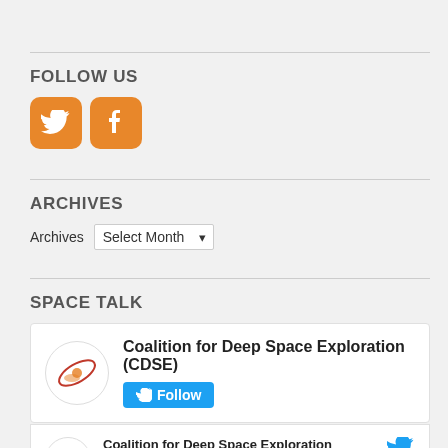FOLLOW US
[Figure (illustration): Orange Twitter bird icon and orange Facebook 'f' icon buttons for social media follow links]
ARCHIVES
Archives  Select Month
SPACE TALK
[Figure (screenshot): Twitter widget card showing Coalition for Deep Space Exploration (CDSE) with Follow button]
[Figure (screenshot): Tweet row from Coalition for Deep Space Exploration (CDSE) @XploreDeepSpace · 20h with Twitter bird icon]